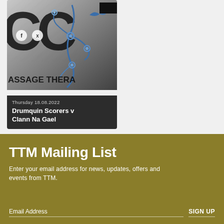[Figure (photo): A sports/massage therapy branded image card showing a logo with blue flowing elements and text 'ASSAGE THERA' (Massage Therapy). Date reads Thursday 18.08.2022. Title: Drumquin Scorers v Clann Na Gael. Social media icons (f, twitter bird) visible on the image.]
TTM Mailing List
Enter your email address for news, updates, offers and events from TTM.
Email Address
SIGN UP